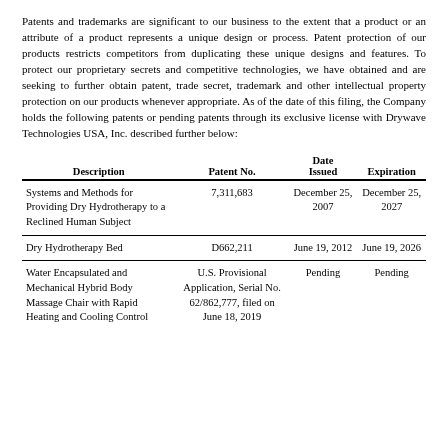Patents and trademarks are significant to our business to the extent that a product or an attribute of a product represents a unique design or process. Patent protection of our products restricts competitors from duplicating these unique designs and features. To protect our proprietary secrets and competitive technologies, we have obtained and are seeking to further obtain patent, trade secret, trademark and other intellectual property protection on our products whenever appropriate. As of the date of this filing, the Company holds the following patents or pending patents through its exclusive license with Drywave Technologies USA, Inc. described further below:
| Description | Patent No. | Date Issued | Expiration |
| --- | --- | --- | --- |
| Systems and Methods for Providing Dry Hydrotherapy to a Reclined Human Subject | 7,311,683 | December 25, 2007 | December 25, 2027 |
| Dry Hydrotherapy Bed | D662,211 | June 19, 2012 | June 19, 2026 |
| Water Encapsulated and Mechanical Hybrid Body Massage Chair with Rapid Heating and Cooling Control | U.S. Provisional Application, Serial No. 62/862,777, filed on June 18, 2019 | Pending | Pending |